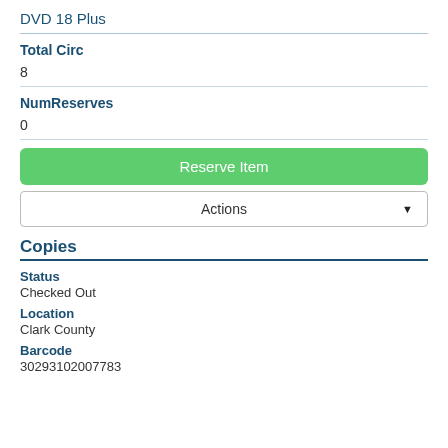DVD 18 Plus
Total Circ
8
NumReserves
0
Reserve Item
Actions
Copies
Status
Checked Out
Location
Clark County
Barcode
30293102007783